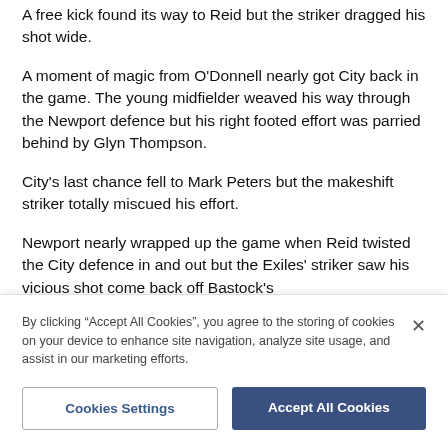A free kick found its way to Reid but the striker dragged his shot wide.
A moment of magic from O'Donnell nearly got City back in the game. The young midfielder weaved his way through the Newport defence but his right footed effort was parried behind by Glyn Thompson.
City's last chance fell to Mark Peters but the makeshift striker totally miscued his effort.
Newport nearly wrapped up the game when Reid twisted the City defence in and out but the Exiles' striker saw his vicious shot come back off Bastock's
By clicking “Accept All Cookies”, you agree to the storing of cookies on your device to enhance site navigation, analyze site usage, and assist in our marketing efforts.
Cookies Settings
Accept All Cookies